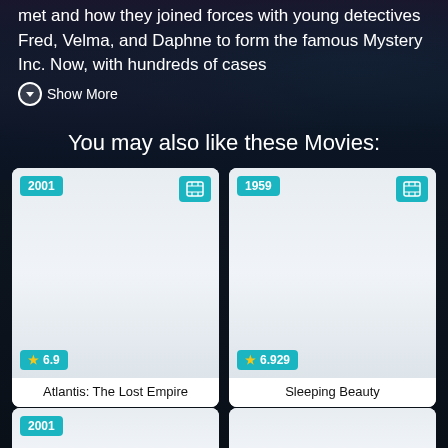met and how they joined forces with young detectives Fred, Velma, and Daphne to form the famous Mystery Inc. Now, with hundreds of cases
Show More
You may also like these Movies:
[Figure (other): Movie card for Atlantis: The Lost Empire (2001), rating 6.9, with film icon badge]
Atlantis: The Lost Empire
[Figure (other): Movie card for Sleeping Beauty (1959), rating 6.929, with film icon badge]
Sleeping Beauty